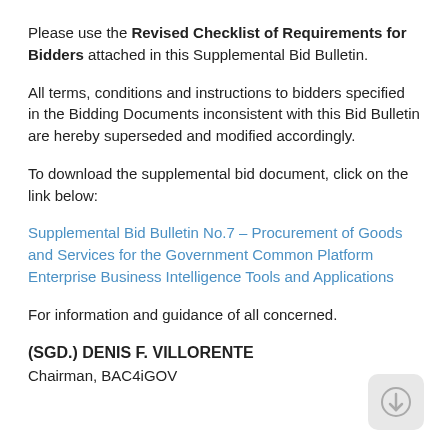Please use the Revised Checklist of Requirements for Bidders attached in this Supplemental Bid Bulletin.
All terms, conditions and instructions to bidders specified in the Bidding Documents inconsistent with this Bid Bulletin are hereby superseded and modified accordingly.
To download the supplemental bid document, click on the link below:
Supplemental Bid Bulletin No.7 – Procurement of Goods and Services for the Government Common Platform Enterprise Business Intelligence Tools and Applications
For information and guidance of all concerned.
(SGD.) DENIS F. VILLORENTE
Chairman, BAC4iGOV